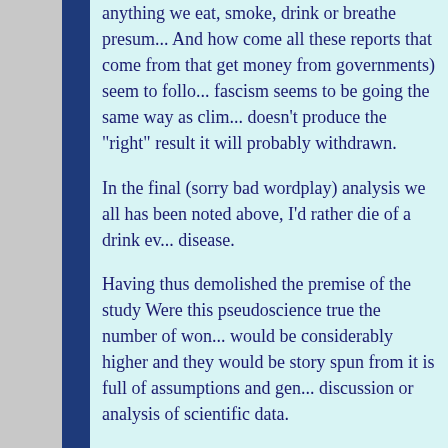anything we eat, smoke, drink or breathe presum... And how come all these reports that come from that get money from governments) seem to follo... fascism seems to be going the same way as clim... doesn't produce the "right" result it will probably withdrawn.
In the final (sorry bad wordplay) analysis we all has been noted above, I'd rather die of a drink ev... disease.
Having thus demolished the premise of the study Were this pseudoscience true the number of won... would be considerably higher and they would be story spun from it is full of assumptions and gen... discussion or analysis of scientific data.
There are several caveats which point to data ma... science of cheating); e.g. if linked with smoking that make the claim very suspect. The only ques...